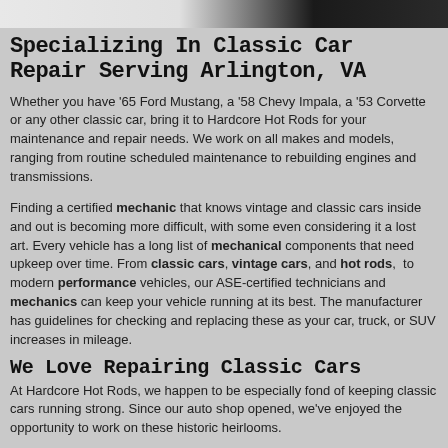[Figure (photo): Photo strip at top of page showing a white/light area on left and dark car detail on right]
Specializing In Classic Car Repair Serving Arlington, VA
Whether you have '65 Ford Mustang, a '58 Chevy Impala, a '53 Corvette or any other classic car, bring it to Hardcore Hot Rods for your maintenance and repair needs. We work on all makes and models, ranging from routine scheduled maintenance to rebuilding engines and transmissions.
Finding a certified mechanic that knows vintage and classic cars inside and out is becoming more difficult, with some even considering it a lost art. Every vehicle has a long list of mechanical components that need upkeep over time. From classic cars, vintage cars, and hot rods, to modern performance vehicles, our ASE-certified technicians and mechanics can keep your vehicle running at its best. The manufacturer has guidelines for checking and replacing these as your car, truck, or SUV increases in mileage.
We Love Repairing Classic Cars
At Hardcore Hot Rods, we happen to be especially fond of keeping classic cars running strong. Since our auto shop opened, we've enjoyed the opportunity to work on these historic heirlooms.
Our Certified Mechanics have as much as 30 years of experience and can repair classic cars of all types. We love classic cars and trucks as much as our customers do, and we are thankful when customers trust us to work on their valuable possessions.
The Experts On Classic Cars